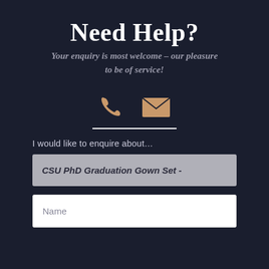Need Help?
Your enquiry is most welcome – our pleasure to be of service!
[Figure (illustration): Phone icon (handset, tan/gold color) and envelope/email icon (tan/gold color) side by side]
I would like to enquire about…
CSU PhD Graduation Gown Set -
Name